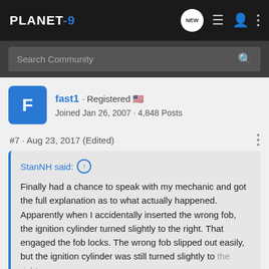PLANET-9 forum navigation bar
Search Community
fast1 · Registered
Joined Jan 26, 2007 · 4,848 Posts
#7 · Aug 23, 2017 (Edited)
StanNH said: ↑
Finally had a chance to speak with my mechanic and got the full explanation as to what actually happened. Apparently when I accidentally inserted the wrong fob, the ignition cylinder turned slightly to the right. That engaged the fob locks. The wrong fob slipped out easily, but the ignition cylinder was still turned slightly to the right.
Click to expand...